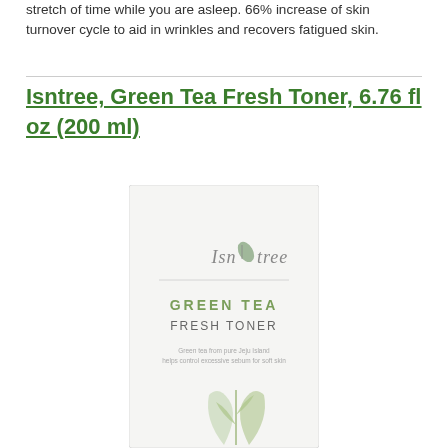stretch of time while you are asleep. 66% increase of skin turnover cycle to aid in wrinkles and recovers fatigued skin.
Isntree, Green Tea Fresh Toner, 6.76 fl oz (200 ml)
[Figure (photo): Product image of Isntree Green Tea Fresh Toner box (6.76 fl oz / 200 ml). White box with Isntree logo and leaf icon, text reads GREEN TEA FRESH TONER, with small subtext: Green tea from pure Jeju Island, helps control excessive sebum for soft skin. Green leaf illustration at bottom.]